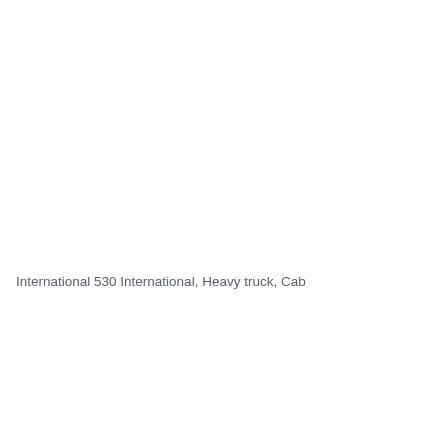International 530 International, Heavy truck, Cab